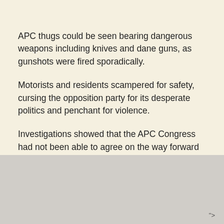APC thugs could be seen bearing dangerous weapons including knives and dane guns, as gunshots were fired sporadically.
Motorists and residents scampered for safety, cursing the opposition party for its desperate politics and penchant for violence.
Investigations showed that the APC Congress had not been able to agree on the way forward as of 7.51 p.m., with different groups resorting to violence and dangerous attacks.
">